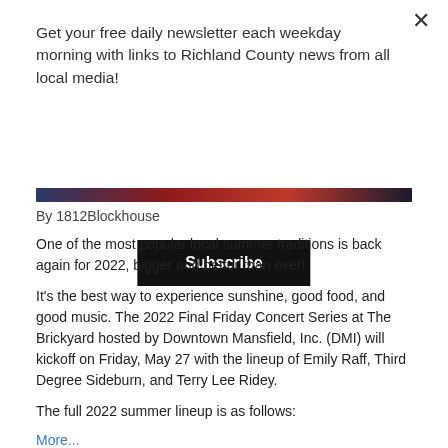Get your free daily newsletter each weekday morning with links to Richland County news from all local media!
Subscribe
[Figure (photo): Partial image strip showing a colorful event/concert photo]
By 1812Blockhouse
One of the most popular local summer traditions is back again for 2022, bigger and better than ever!
It’s the best way to experience sunshine, good food, and good music. The 2022 Final Friday Concert Series at The Brickyard hosted by Downtown Mansfield, Inc. (DMI) will kickoff on Friday, May 27 with the lineup of Emily Raff, Third Degree Sideburn, and Terry Lee Ridey.
The full 2022 summer lineup is as follows:
More...
Concerts  Downtown Mansfield  Downtown Mansfield Inc.  Featured